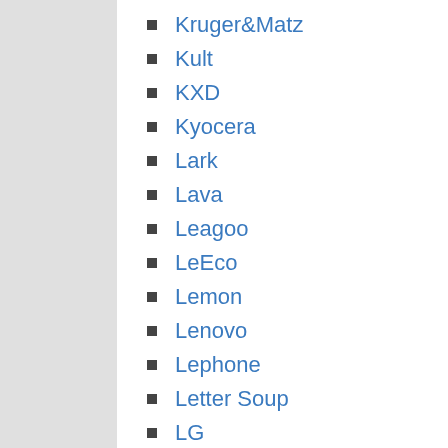Kruger&Matz
Kult
KXD
Kyocera
Lark
Lava
Leagoo
LeEco
Lemon
Lenovo
Lephone
Letter Soup
LG
Lyf